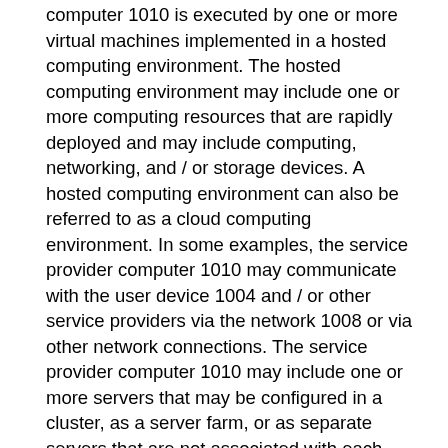computer 1010 is executed by one or more virtual machines implemented in a hosted computing environment. The hosted computing environment may include one or more computing resources that are rapidly deployed and may include computing, networking, and / or storage devices. A hosted computing environment can also be referred to as a cloud computing environment. In some examples, the service provider computer 1010 may communicate with the user device 1004 and / or other service providers via the network 1008 or via other network connections. The service provider computer 1010 may include one or more servers that may be configured in a cluster, as a server farm, or as separate servers that are not associated with each other. These servers can be configured to implement the keyword classification and hierarchical feature services described herein as part of an integrated decentralized computing environment. In one illustrative configuration, the service provider computer 1010 may include at least one memory 1018 and one or more processing units (or processors 1020). The processor 1020 may be implemented in hardware, computer executable instructions, firmware, or a combination thereof, as appropriate. The computer-